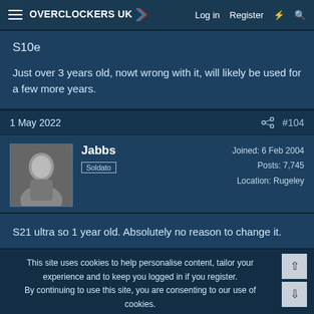Overclockers UK — Log in  Register
S10e
Just over 3 years old, nowt wrong with it, will likely be used for a few more years.
1 May 2022   #104
Jabbs
Soldato
Joined: 6 Feb 2004
Posts: 7,745
Location: Rugeley
S21 ultra so 1 year old. Absolutely no reason to change it.
This site uses cookies to help personalise content, tailor your experience and to keep you logged in if you register.
By continuing to use this site, you are consenting to our use of cookies.